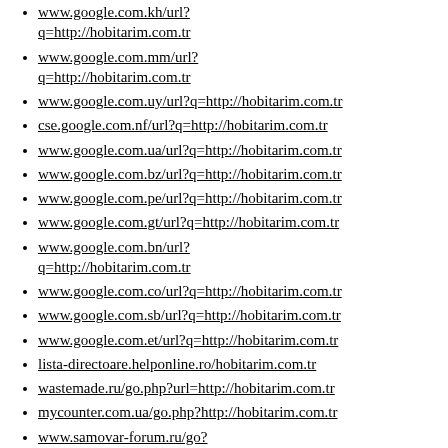www.google.com.kh/url?q=http://hobitarim.com.tr
www.google.com.mm/url?q=http://hobitarim.com.tr
www.google.com.uy/url?q=http://hobitarim.com.tr
cse.google.com.nf/url?q=http://hobitarim.com.tr
www.google.com.ua/url?q=http://hobitarim.com.tr
www.google.com.bz/url?q=http://hobitarim.com.tr
www.google.com.pe/url?q=http://hobitarim.com.tr
www.google.com.gt/url?q=http://hobitarim.com.tr
www.google.com.bn/url?q=http://hobitarim.com.tr
www.google.com.co/url?q=http://hobitarim.com.tr
www.google.com.sb/url?q=http://hobitarim.com.tr
www.google.com.et/url?q=http://hobitarim.com.tr
lista-directoare.helponline.ro/hobitarim.com.tr
wastemade.ru/go.php?url=http://hobitarim.com.tr
mycounter.com.ua/go.php?http://hobitarim.com.tr
www.samovar-forum.ru/go?